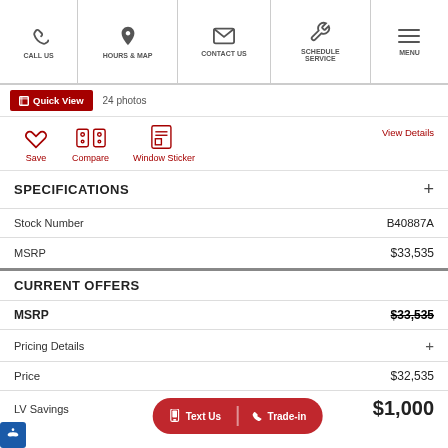CALL US | HOURS & MAP | CONTACT US | SCHEDULE SERVICE | MENU
Quick View  24 photos
Save  Compare  Window Sticker  View Details
SPECIFICATIONS
| Field | Value |
| --- | --- |
| Stock Number | B40887A |
| MSRP | $33,535 |
CURRENT OFFERS
| Field | Value |
| --- | --- |
| MSRP | $33,535 |
| Pricing Details | + |
| Price | $32,535 |
| LV Savings | $1,000 |